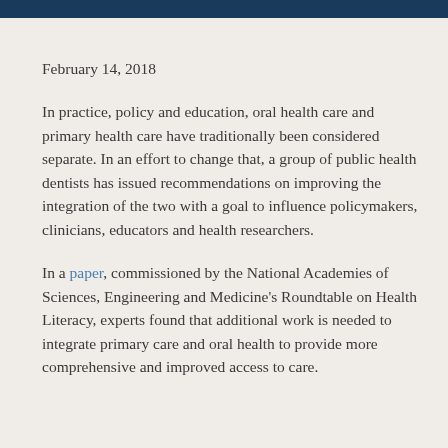February 14, 2018
In practice, policy and education, oral health care and primary health care have traditionally been considered separate. In an effort to change that, a group of public health dentists has issued recommendations on improving the integration of the two with a goal to influence policymakers, clinicians, educators and health researchers.
In a paper, commissioned by the National Academies of Sciences, Engineering and Medicine's Roundtable on Health Literacy, experts found that additional work is needed to integrate primary care and oral health to provide more comprehensive and improved access to care.